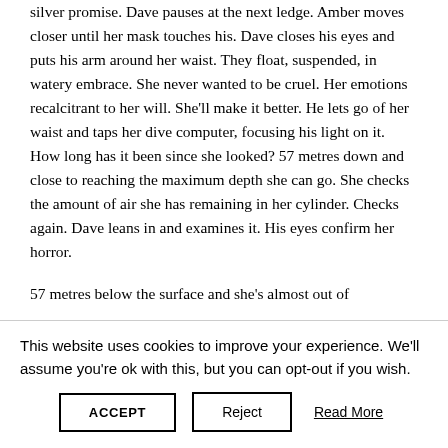silver promise. Dave pauses at the next ledge. Amber moves closer until her mask touches his. Dave closes his eyes and puts his arm around her waist. They float, suspended, in watery embrace. She never wanted to be cruel. Her emotions recalcitrant to her will. She'll make it better. He lets go of her waist and taps her dive computer, focusing his light on it. How long has it been since she looked? 57 metres down and close to reaching the maximum depth she can go. She checks the amount of air she has remaining in her cylinder. Checks again. Dave leans in and examines it. His eyes confirm her horror.
57 metres below the surface and she's almost out of
This website uses cookies to improve your experience. We'll assume you're ok with this, but you can opt-out if you wish.